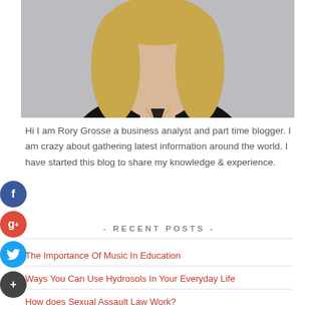[Figure (photo): Portrait photo of a blonde woman in a black top with a necklace, light gray background]
Hi I am Rory Grosse a business analyst and part time blogger. I am crazy about gathering latest information around the world. I have started this blog to share my knowledge & experience.
- RECENT POSTS -
The Importance Of Music In Education
Ways You Can Use Hydrosols In Your Everyday Life
How does Sexual Assault Law Work?